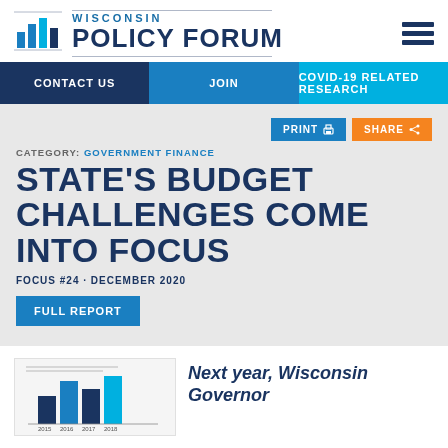Wisconsin Policy Forum
CONTACT US | JOIN | COVID-19 RELATED RESEARCH
CATEGORY: GOVERNMENT FINANCE
STATE'S BUDGET CHALLENGES COME INTO FOCUS
FOCUS #24 · DECEMBER 2020
FULL REPORT
[Figure (bar-chart): Small bar chart thumbnail showing state budget data]
Next year, Wisconsin Governor